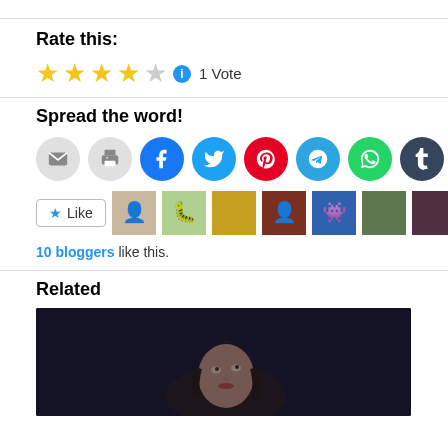Rate this:
[Figure (infographic): 4 filled gold stars and 1 empty star rating widget with info icon, showing '1 Vote']
Spread the word!
[Figure (infographic): Row of social sharing icon buttons: email, print, Facebook, Twitter, Pinterest, Telegram, WhatsApp, Tumblr, Reddit]
[Figure (infographic): Like button followed by 10 blogger avatar thumbnails]
10 bloggers like this.
Related
[Figure (photo): Dark cinematic photo of a woman with dark hair looking upward, dramatic lighting]